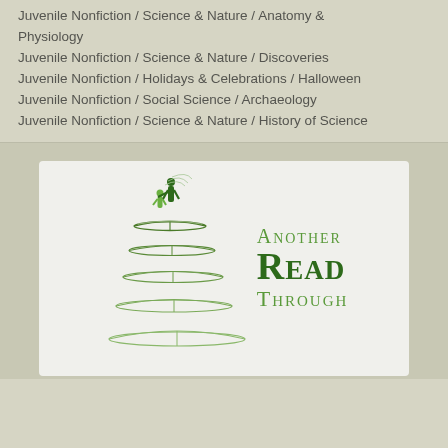Juvenile Nonfiction / Science & Nature / Anatomy & Physiology
Juvenile Nonfiction / Science & Nature / Discoveries
Juvenile Nonfiction / Holidays & Celebrations / Halloween
Juvenile Nonfiction / Social Science / Archaeology
Juvenile Nonfiction / Science & Nature / History of Science
[Figure (logo): Another Read Through logo: stacked open books with green silhouettes of adult and child standing on top, beside the text 'Another Read Through' in green serif font with small caps styling]